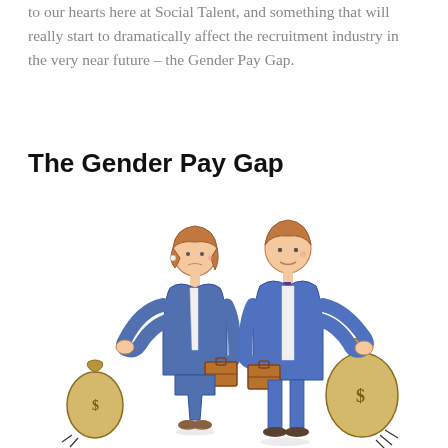to our hearts here at Social Talent, and something that will really start to dramatically affect the recruitment industry in the very near future – the Gender Pay Gap.
The Gender Pay Gap
[Figure (illustration): A cartoon illustration showing a woman and a man in business attire, each holding a briefcase. The woman (left) holds a small money bag with a dollar sign, while the man (right) holds a larger money bag with a dollar sign, symbolizing the gender pay gap.]